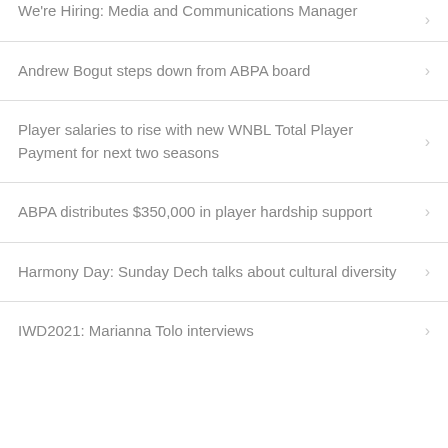We're Hiring: Media and Communications Manager
Andrew Bogut steps down from ABPA board
Player salaries to rise with new WNBL Total Player Payment for next two seasons
ABPA distributes $350,000 in player hardship support
Harmony Day: Sunday Dech talks about cultural diversity
IWD2021: Marianna Tolo interviews